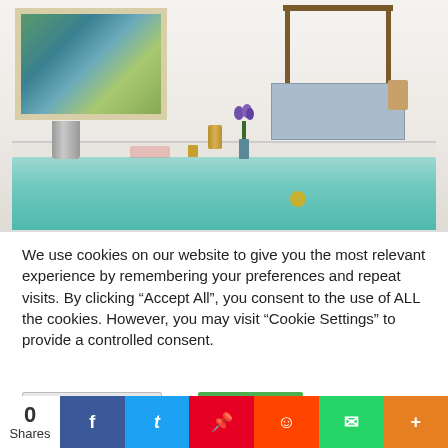[Figure (photo): Hotel room photo showing a whirlpool bathtub filled with blue-green water in the foreground, with gold faucet fixtures. A silver ice bucket is on the tub surround. Purple iris flowers in a vase sit on the rim. Behind the tub is a four-poster canopy bed with blue bedding. A framed landscape painting hangs on the white wall to the left.]
We use cookies on our website to give you the most relevant experience by remembering your preferences and repeat visits. By clicking “Accept All”, you consent to the use of ALL the cookies. However, you may visit “Cookie Settings” to provide a controlled consent.
Cookie Settings
Accept All
0
Shares